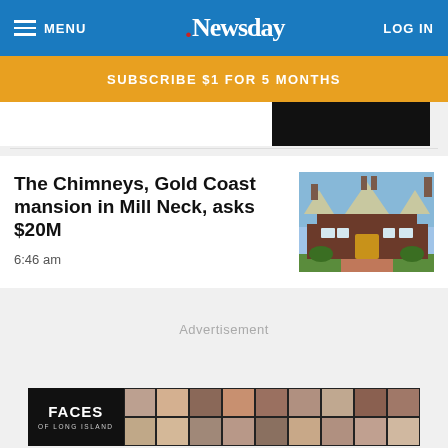MENU | Newsday | LOG IN
SUBSCRIBE $1 FOR 5 MONTHS
The Chimneys, Gold Coast mansion in Mill Neck, asks $20M
6:46 am
Advertisement
[Figure (photo): Faces of Long Island advertisement with grid of portrait photos]